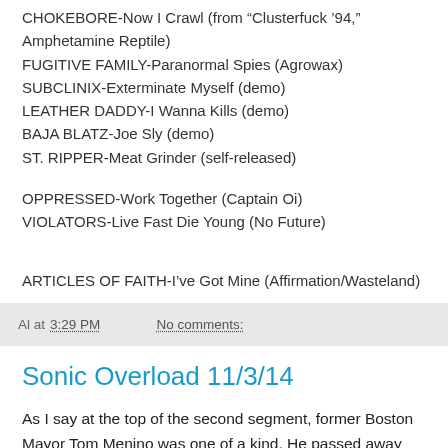CHOKEBORE-Now I Crawl (from “Clusterfuck ’94,” Amphetamine Reptile)
FUGITIVE FAMILY-Paranormal Spies (Agrowax)
SUBCLINIX-Exterminate Myself (demo)
LEATHER DADDY-I Wanna Kills (demo)
BAJA BLATZ-Joe Sly (demo)
ST. RIPPER-Meat Grinder (self-released)
OPPRESSED-Work Together (Captain Oi)
VIOLATORS-Live Fast Die Young (No Future)
ARTICLES OF FAITH-I’ve Got Mine (Affirmation/Wasteland)
Al at 3:29 PM   No comments:
Sonic Overload 11/3/14
As I say at the top of the second segment, former Boston Mayor Tom Menino was one of a kind. He passed away last